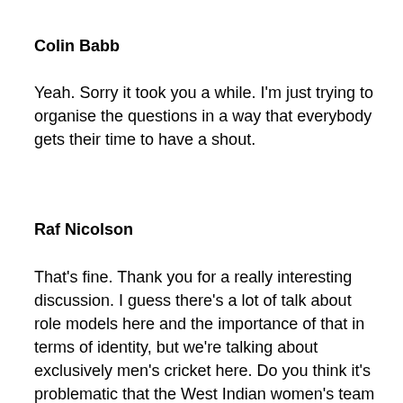Colin Babb
Yeah.  Sorry it took you a while.  I'm just trying to organise the questions in a way that everybody gets their time to have a shout.
Raf Nicolson
That's fine.  Thank you for a really interesting discussion.  I guess there's a lot of talk about role models here and the importance of that in terms of identity, but we're talking about exclusively men's cricket here.  Do you think it's problematic that the West Indian women's team has been very invisible until very recently?  And if you were an African-Caribbean woman coming to the UK,